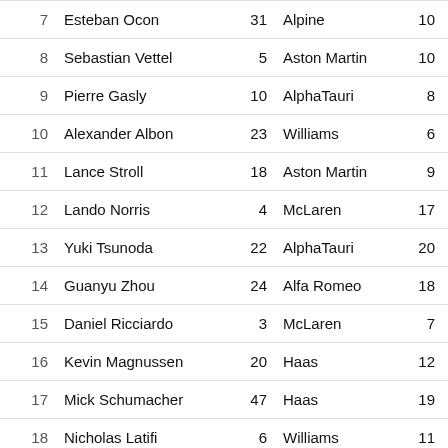| Pos | Driver | No | Team | Laps | Stops | Best Lap |
| --- | --- | --- | --- | --- | --- | --- |
| 7 | Esteban Ocon | 31 | Alpine | 10 | 2 | 1:51.7 |
| 8 | Sebastian Vettel | 5 | Aston Martin | 10 | 2 | 1:52.5 |
| 9 | Pierre Gasly | 10 | AlphaTauri | 8 | 2 | 1:53.0 |
| 10 | Alexander Albon | 23 | Williams | 6 | 2 | 1:53.0 |
| 11 | Lance Stroll | 18 | Aston Martin | 9 | 2 | 1:52.8 |
| 12 | Lando Norris | 4 | McLaren | 17 | 2 | 1:51.6 |
| 13 | Yuki Tsunoda | 22 | AlphaTauri | 20 | 2 | 1:52.4 |
| 14 | Guanyu Zhou | 24 | Alfa Romeo | 18 | 2 | 1:52.3 |
| 15 | Daniel Ricciardo | 3 | McLaren | 7 | 2 | 1:53.0 |
| 16 | Kevin Magnussen | 20 | Haas | 12 | 2 | 1:53.3 |
| 17 | Mick Schumacher | 47 | Haas | 19 | 2 | 1:52.6 |
| 18 | Nicholas Latifi | 6 | Williams | 11 | 3 | 1:52.2 |
| NC | Valtteri Bottas | 77 | Alfa Romeo | 13 | 0 |  |